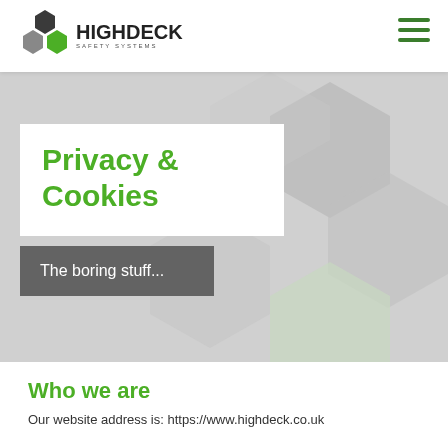[Figure (logo): HighDeck Safety Systems logo with hexagonal icon and bold text]
[Figure (illustration): Hamburger menu icon (three green horizontal lines)]
[Figure (illustration): Hero banner with grey hexagonal honeycomb pattern background]
Privacy & Cookies
The boring stuff...
Who we are
Our website address is: https://www.highdeck.co.uk